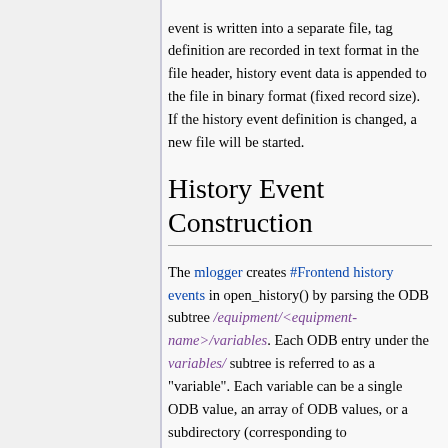event is written into a separate file, tag definition are recorded in text format in the file header, history event data is appended to the file in binary format (fixed record size). If the history event definition is changed, a new file will be started.
History Event Construction
The mlogger creates #Frontend history events in open_history() by parsing the ODB subtree /equipment/<equipment-name>/variables. Each ODB entry under the variables/ subtree is referred to as a "variable". Each variable can be a single ODB value, an array of ODB values, or a subdirectory (corresponding to TID_STRUCT structured data banks). As